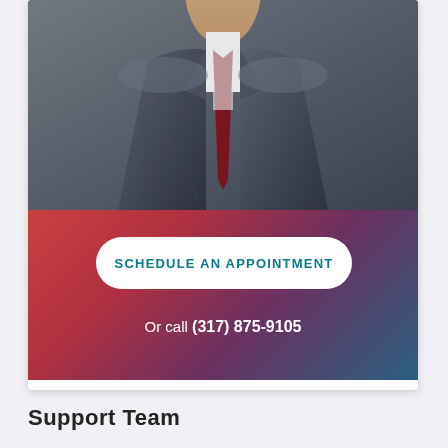[Figure (photo): Professional headshot of a man in a dark grey suit with a dark red striped tie, white shirt, against a dark grey background. Only the torso and partial head are visible.]
SCHEDULE AN APPOINTMENT
Or call (317) 875-9105
Support Team